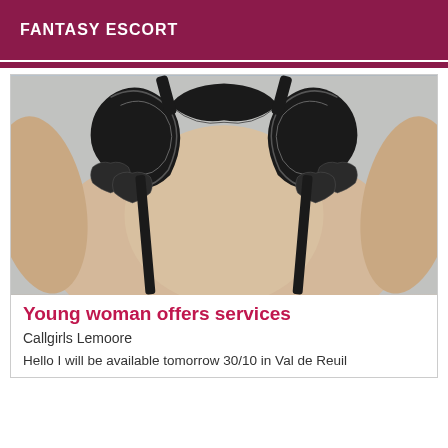FANTASY ESCORT
[Figure (photo): Close-up photo of a person wearing a black lace bra/lingerie top]
Young woman offers services
Callgirls Lemoore
Hello I will be available tomorrow 30/10 in Val de Reuil